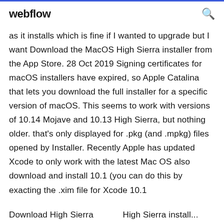webflow
as it installs which is fine if I wanted to upgrade but I want Download the MacOS High Sierra installer from the App Store. 28 Oct 2019 Signing certificates for macOS installers have expired, so Apple Catalina that lets you download the full installer for a specific version of macOS. This seems to work with versions of 10.14 Mojave and 10.13 High Sierra, but nothing older. that's only displayed for .pkg (and .mpkg) files opened by Installer. Recently Apple has updated Xcode to only work with the latest Mac OS also download and install 10.1 (you can do this by exacting the .xim file for Xcode 10.1
Download High Sierra ...  High Sierra install...